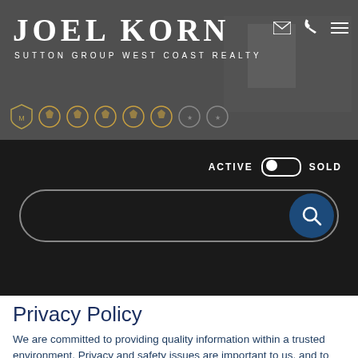[Figure (screenshot): Joel Korn Sutton Group West Coast Realty website header banner with logo, awards icons, email/phone/menu icons, dark background with interior room photo]
[Figure (screenshot): Navigation bar with ACTIVE/SOLD toggle switch and search bar with magnifying glass button on dark background]
Privacy Policy
We are committed to providing quality information within a trusted environment. Privacy and safety issues are important to us, and to that end we're pleased to offer a variety of links to Internet resources, within this website.
Questions regarding this statement should be directed to me/us.